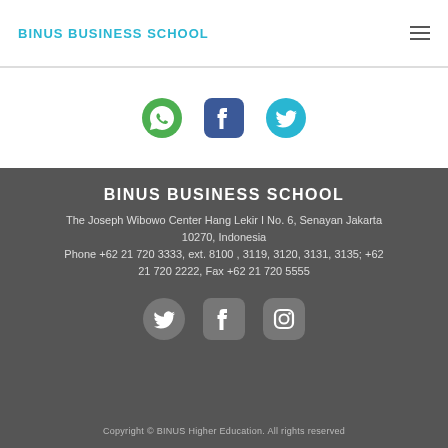BINUS BUSINESS SCHOOL
[Figure (illustration): Social media icons: WhatsApp (green), Facebook (blue), Twitter (light blue)]
BINUS BUSINESS SCHOOL
The Joseph Wibowo Center Hang Lekir I No. 6, Senayan Jakarta 10270, Indonesia
Phone +62 21 720 3333, ext. 8100 , 3119, 3120, 3131, 3135; +62 21 720 2222, Fax +62 21 720 5555
[Figure (illustration): Social media icons in footer: Twitter (grey), Facebook (grey), Instagram (grey)]
Copyright © BINUS Higher Education. All rights reserved